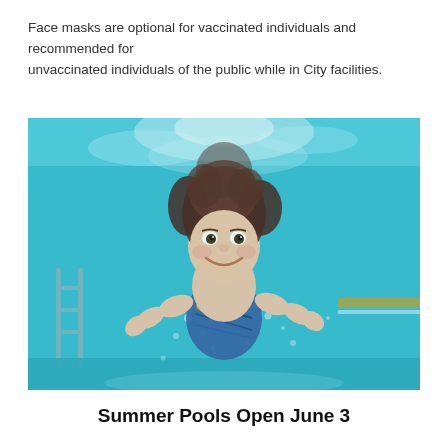Face masks are optional for vaccinated individuals and recommended for unvaccinated individuals of the public while in City facilities.
[Figure (photo): Underwater photograph of a young child swimming in a pool, smiling at the camera, wearing blue swim trunks. Pool ladder and lane markings visible in the background.]
Summer Pools Open June 3